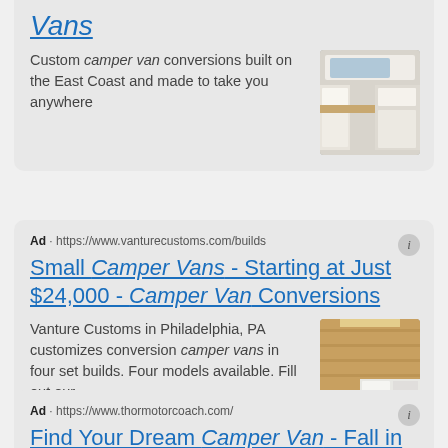Vans
Custom camper van conversions built on the East Coast and made to take you anywhere
[Figure (photo): Interior of a camper van conversion showing white cabinets and wood countertop]
Ad · https://www.vanturecustoms.com/builds
Small Camper Vans - Starting at Just $24,000 - Camper Van Conversions
Vanture Customs in Philadelphia, PA customizes conversion camper vans in four set builds. Four models available. Fill out our...
[Figure (photo): Interior of a camper van conversion showing wooden walls and kitchen area]
Ad · https://www.thormotorcoach.com/
Find Your Dream Camper Van - Fall in Love w/ A Camper Van